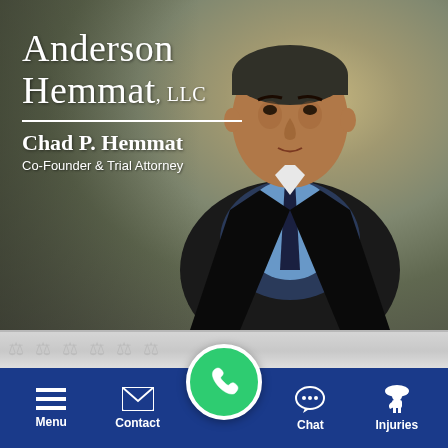[Figure (photo): Professional headshot of Chad P. Hemmat, a middle-aged man in a dark suit with blue shirt and dark tie, posed against a blurred office background]
Anderson Hemmat, LLC
Chad P. Hemmat
Co-Founder & Trial Attorney
[Figure (infographic): Blue navigation bar with icons for Menu (hamburger), Contact (envelope), Phone (green circular button), Chat (speech bubble), Injuries (worker figure)]